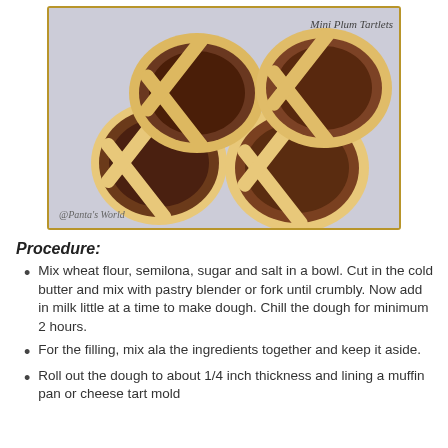[Figure (photo): Four mini plum tartlets with lattice pastry tops arranged on a light purple/white surface. Text 'Mini Plum Tartlets' in top right corner and '@Panta's World' watermark in bottom left.]
Procedure:
Mix wheat flour, semilona, sugar and salt in a bowl. Cut in the cold butter and mix with pastry blender or fork until crumbly. Now add in milk little at a time to make dough. Chill the dough for minimum 2 hours.
For the filling, mix ala the ingredients together and keep it aside.
Roll out the dough to about 1/4 inch thickness and lining a muffin pan or cheese tart mold